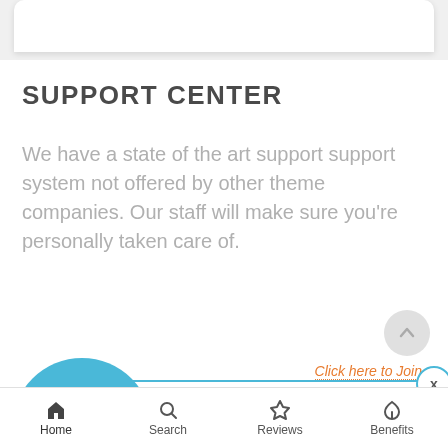SUPPORT CENTER
We have a state of the art support system not offered by other theme companies. Our staff will make sure you're personally taken care of.
more details »
[Figure (screenshot): Popup advertisement: Download 3 WordPress themes & plugins with lifetime access for FREE! Click here to Join. Features a cloud download icon circle in teal/blue.]
Home   Search   Reviews   Benefits